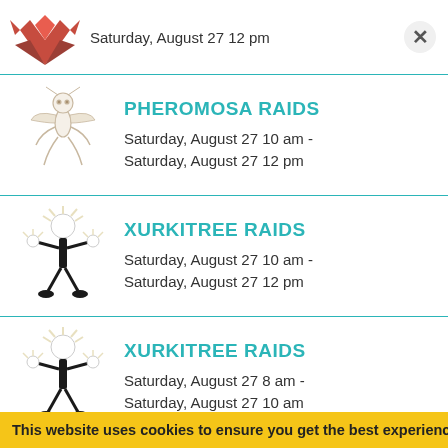Saturday, August 27 12 pm
PHEROMOSA RAIDS
Saturday, August 27 10 am - Saturday, August 27 12 pm
XURKITREE RAIDS
Saturday, August 27 10 am - Saturday, August 27 12 pm
XURKITREE RAIDS
Saturday, August 27 8 am - Saturday, August 27 10 am
This website uses cookies to ensure you get the best experience on ou